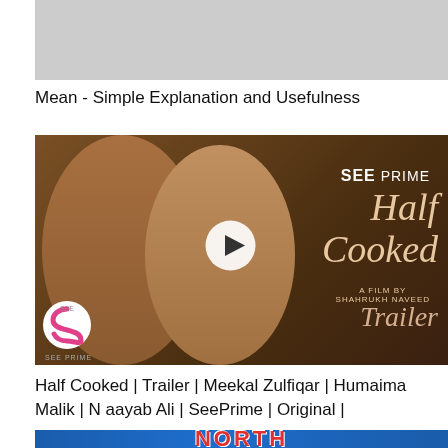[Figure (photo): Gray placeholder image at top]
Mean - Simple Explanation and Usefulness
[Figure (photo): SeePrime Half Cooked trailer thumbnail showing two people, play button, SEE PRIME logo, Half Cooked title, A Film By Shahrukh Naveed, Trailer text]
Half Cooked | Trailer | Meekal Zulfiqar | Humaima Malik | Naayab Ali | SeePrime | Original |
[Figure (photo): Partial thumbnail at bottom showing NORTH text on blue background with two people]